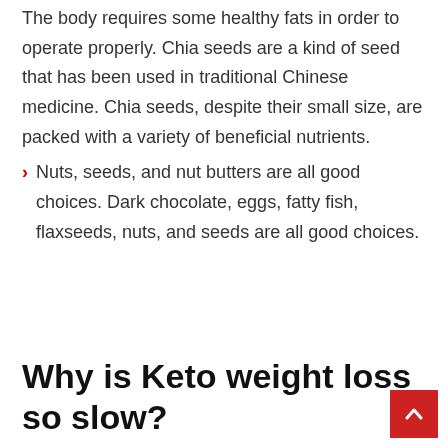The body requires some healthy fats in order to operate properly. Chia seeds are a kind of seed that has been used in traditional Chinese medicine. Chia seeds, despite their small size, are packed with a variety of beneficial nutrients.
Nuts, seeds, and nut butters are all good choices. Dark chocolate, eggs, fatty fish, flaxseeds, nuts, and seeds are all good choices.
Why is Keto weight loss so slow?